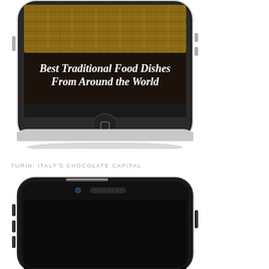[Figure (screenshot): iPhone displaying app screen titled 'Best Traditional Food Dishes From Around the World' with woven basket background. Shows bottom portion of phone with home button.]
TURIN: ITALY'S CHOCOLATE CAPITAL
[Figure (screenshot): Black iPhone showing top portion with front camera, speaker grille, and top edge of screen.]